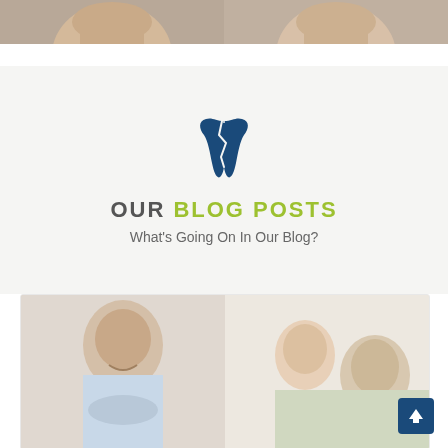[Figure (photo): Two cropped face photos side by side at top of page, showing men's chins/lower faces]
[Figure (logo): Blue tooth icon with crack/split design]
OUR BLOG POSTS
What's Going On In Our Blog?
[Figure (photo): Two photos side by side: left shows smiling young man (dental patient), right shows woman with child (dental care scenario)]